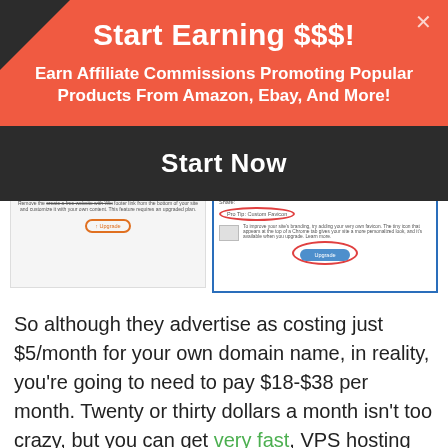Start Earning $$$!
Earn Affiliate Commissions Promoting Popular Products From Amazon, Ebay, And More!
Start Now
[Figure (screenshot): Two screenshots showing Wix website editor upgrade prompts with red circled UI elements including footer editing restriction, upgrade button, and custom favicon pro tip.]
So although they advertise as costing just $5/month for your own domain name, in reality, you're going to need to pay $18-$38 per month. Twenty or thirty dollars a month isn't too crazy, but you can get very fast, VPS hosting for WordPress websites, which would include hosting for at least